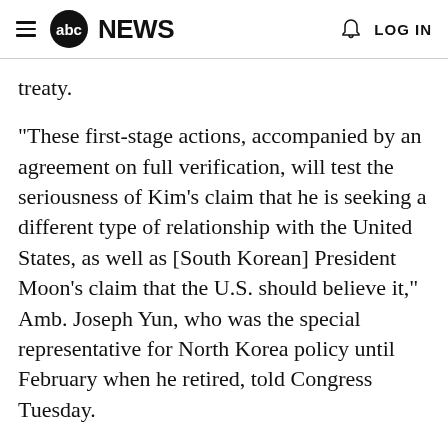abc NEWS  LOG IN
treaty.
"These first-stage actions, accompanied by an agreement on full verification, will test the seriousness of Kim's claim that he is seeking a different type of relationship with the United States, as well as [South Korean] President Moon's claim that the U.S. should believe it," Amb. Joseph Yun, who was the special representative for North Korea policy until February when he retired, told Congress Tuesday.
The administration has refused to comment